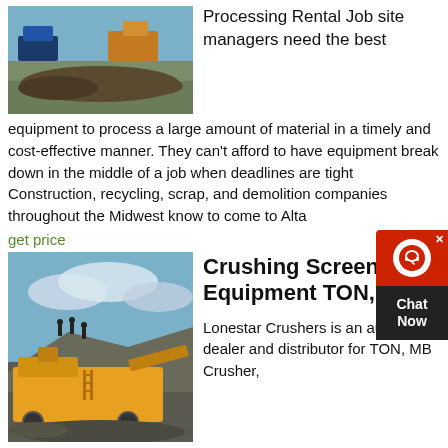[Figure (photo): Aerial view of construction or mining site with heavy machinery and excavated earth]
Processing Rental Job site managers need the best equipment to process a large amount of material in a timely and cost-effective manner. They can't afford to have equipment break down in the middle of a job when deadlines are tight Construction, recycling, scrap, and demolition companies throughout the Midwest know to come to Alta
get price
[Figure (photo): Yellow crushing and screening machinery at a quarry or mining site with workers standing on top of rocky hill]
Crushing Screening Equipment TON, MB
Lonestar Crushers is an authorized dealer and distributor for TON, MB Crusher, and Portafill. Not only do we sell new and pre-owned machinery, but we also offer short to long-term leasing options through our